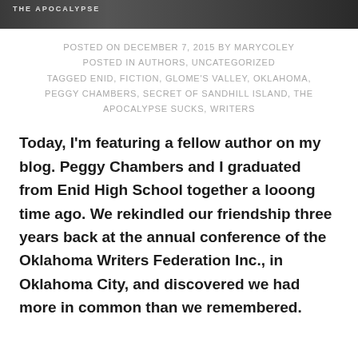[Figure (photo): Cropped photo at top of page showing people, partially visible text reading 'THE APOCALYPSE']
POSTED ON DECEMBER 7, 2015 BY MARYCOLEY
POSTED IN AUTHORS, UNCATEGORIZED
TAGGED ENID, FICTION, GLOME'S VALLEY, OKLAHOMA,
PEGGY CHAMBERS, SECRET OF SANDHILL ISLAND, THE
APOCALYPSE SUCKS, WRITERS
Today, I'm featuring a fellow author on my blog. Peggy Chambers and I graduated from Enid High School together a looong time ago. We rekindled our friendship three years back at the annual conference of the Oklahoma Writers Federation Inc., in Oklahoma City, and discovered we had more in common than we remembered.